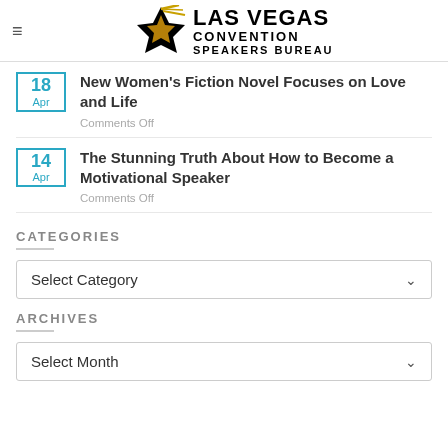Las Vegas Convention Speakers Bureau
18 Apr - New Women's Fiction Novel Focuses on Love and Life - Comments Off
14 Apr - The Stunning Truth About How to Become a Motivational Speaker - Comments Off
CATEGORIES
Select Category
ARCHIVES
Select Month